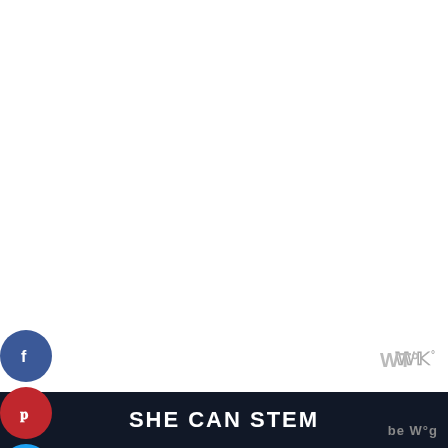[Figure (screenshot): Social sharing sidebar with Facebook (blue circle), Pinterest (red circle), Twitter (blue circle), Email (green circle) buttons on the left side]
[Figure (logo): Taboola logo top right corner, gray text with degree symbol]
Wonton Wraps – found in the refrigerator section of grocery stores, beside the chilled salad dressing and tofu. These versatile wonton wraps are not only for making wontons. Shaped in a muffin tin they become the cutest
[Figure (infographic): Heart icon with count 158 and share icon on right engagement bar]
[Figure (screenshot): What's Next widget with Jalapeno Popper Egg... article thumbnail]
SHE CAN STEM